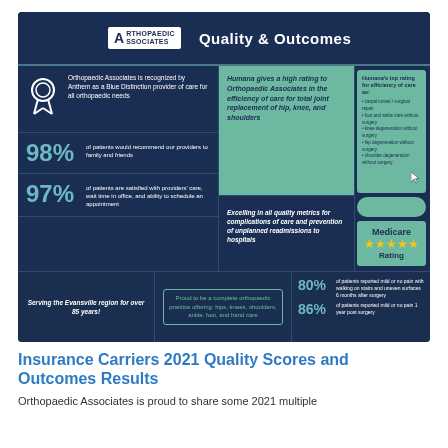[Figure (infographic): Orthopaedic Associates Quality & Outcomes infographic on dark blue background. Includes stats: 98% of patients would recommend providers, 97% satisfied, Humana high rating for efficiency of care for total joint replacement of hip, knee, and shoulders, Humana top rating for efficiency of care, Medicare 5-star rating, 80% of patients reported mild or no pain with walking on stairs and uneven surfaces 6 months after surgery, 86% of patients reported mild or no pain 1 year post surgery, Anthem Blue Distinction provider recognition, serving Evansville region for over 85 years, complete orthopaedic practice offering hips, knees, shoulders, ankle, foot, and hand care.]
Insurance Carriers 2021 Quality Scores and Outcomes Results
Orthopaedic Associates is proud to share some 2021 multiple